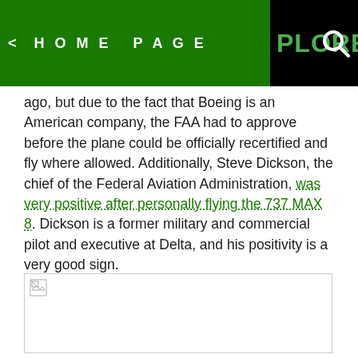< HOME PAGE XPLORER BLOG
ago, but due to the fact that Boeing is an American company, the FAA had to approve before the plane could be officially recertified and fly where allowed. Additionally, Steve Dickson, the chief of the Federal Aviation Administration, was very positive after personally flying the 737 MAX 8. Dickson is a former military and commercial pilot and executive at Delta, and his positivity is a very good sign.
[Figure (photo): Image placeholder (broken image) — large white rectangle with broken image icon in top-left corner]